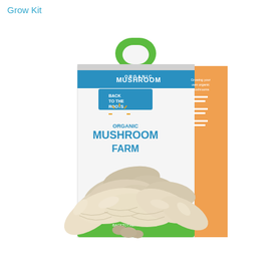Grow Kit
[Figure (photo): Back to the Roots Organic Mushroom Farm Grow Kit box with green handle, white box labeled 'Back to the Roots Organic Mushroom Farm', with a cluster of fresh oyster mushrooms growing out of the front of the box. The right side panel shows growing instructions and the box sits on a green base.]